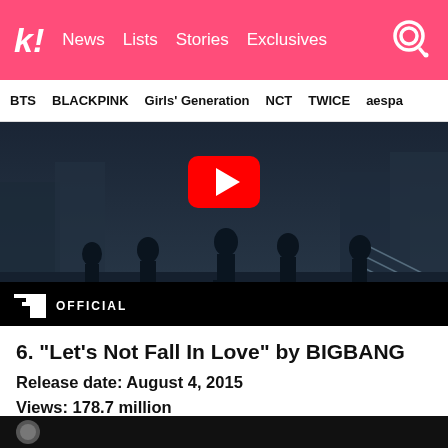k! News  Lists  Stories  Exclusives
BTS  BLACKPINK  Girls' Generation  NCT  TWICE  aespa
[Figure (screenshot): YouTube video thumbnail from YG OFFICIAL showing BIGBANG members as silhouettes walking in a dark urban setting. Red YouTube play button visible. YG OFFICIAL badge in lower left.]
6. “Let’s Not Fall In Love” by BIGBANG
Release date: August 4, 2015
Views: 178.7 million
[Figure (screenshot): Bottom edge of another video thumbnail]